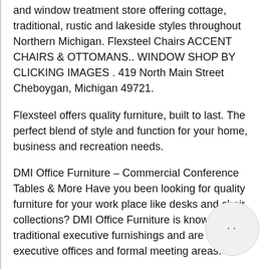and window treatment store offering cottage, traditional, rustic and lakeside styles throughout Northern Michigan. Flexsteel Chairs ACCENT CHAIRS & OTTOMANS.. WINDOW SHOP BY CLICKING IMAGES . 419 North Main Street Cheboygan, Michigan 49721.
Flexsteel offers quality furniture, built to last. The perfect blend of style and function for your home, business and recreation needs.
DMI Office Furniture – Commercial Conference Tables & More Have you been looking for quality furniture for your work place like desks and chair collections? DMI Office Furniture is known for traditional executive furnishings and are ideal for executive offices and formal meeting areas.
Flexsteel DMI Office Furniture Shorewood MN
Authorized Dealer of Flexsteel – DMI Furniture Inc.